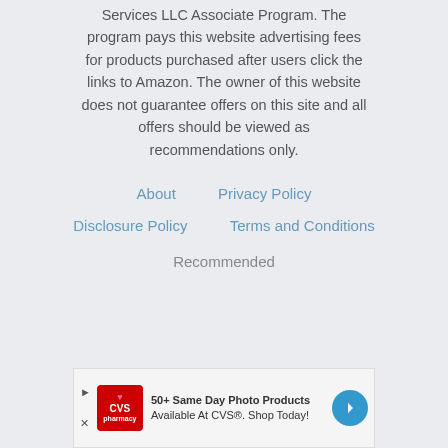Services LLC Associate Program. The program pays this website advertising fees for products purchased after users click the links to Amazon. The owner of this website does not guarantee offers on this site and all offers should be viewed as recommendations only.
About   Privacy Policy
Disclosure Policy   Terms and Conditions
Recommended
[Figure (screenshot): Ad banner for CVS pharmacy: '50+ Same Day Photo Products Available At CVS®. Shop Today!']